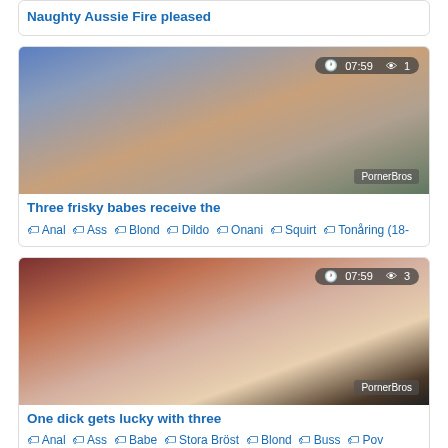Naughty Aussie Fire pleased
[Figure (photo): Thumbnail of three women, one in blue, one in black, one in pink. Duration: 07:59, Views: 1. Watermark: PornerBros]
Three frisky babes receive the
🏷 Anal 🏷 Ass 🏷 Blond 🏷 Dildo 🏷 Onani 🏷 Squirt 🏷 Tonåring (18-
[Figure (photo): Thumbnail of three people kissing. Duration: 07:59, Views: 3. Watermark: PornerBros]
One dick gets lucky with three
🏷 Anal 🏷 Ass 🏷 Babe 🏷 Stora Bröst 🏷 Blond 🏷 Buss 🏷 Pov